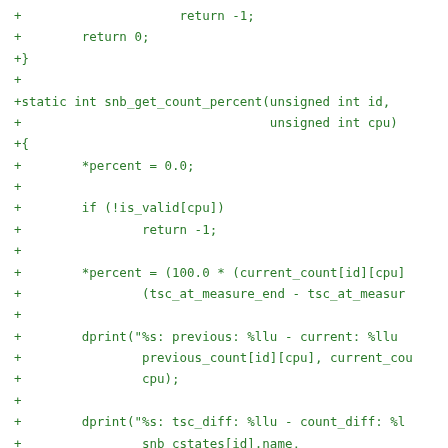[Figure (screenshot): Code diff showing addition of C function snb_get_count_percent, with green '+' prefixed lines showing new code including function signature, variable initialization, validity check, percent calculation, and debug print statements.]